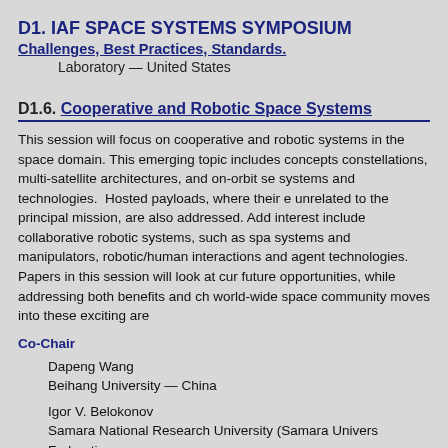D1. IAF SPACE SYSTEMS SYMPOSIUM
Challenges, Best Practices, Standards.
Laboratory — United States
D1.6. Cooperative and Robotic Space Systems
This session will focus on cooperative and robotic systems in the space domain. This emerging topic includes concepts constellations, multi-satellite architectures, and on-orbit se systems and technologies. Hosted payloads, where their e unrelated to the principal mission, are also addressed. Add interest include collaborative robotic systems, such as spa systems and manipulators, robotic/human interactions an agent technologies. Papers in this session will look at cur future opportunities, while addressing both benefits and ch world-wide space community moves into these exciting are
Co-Chair
Dapeng Wang
Beihang University — China
Igor V. Belokonov
Samara National Research University (Samara Univers Federation